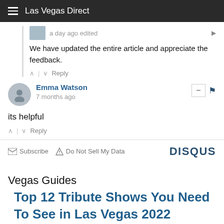Las Vegas Direct
a day ago edited
We have updated the entire article and appreciate the feedback.
↑ | ↓  Reply
Emma Watson
7 months ago
its helpful
↑ | ↓  Reply
✉ Subscribe  ▲ Do Not Sell My Data
DISQUS
Vegas Guides
Top 12 Tribute Shows You Need To See in Las Vegas 2022